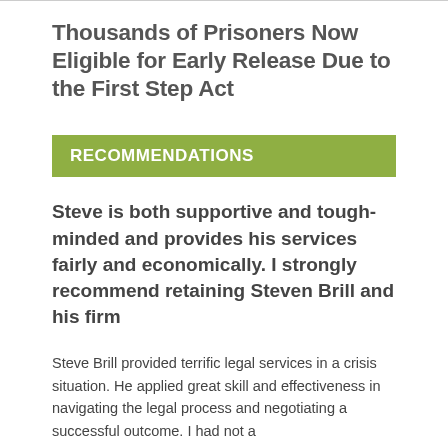Thousands of Prisoners Now Eligible for Early Release Due to the First Step Act
RECOMMENDATIONS
Steve is both supportive and tough-minded and provides his services fairly and economically. I strongly recommend retaining Steven Brill and his firm
Steve Brill provided terrific legal services in a crisis situation. He applied great skill and effectiveness in navigating the legal process and negotiating a successful outcome. I had not a